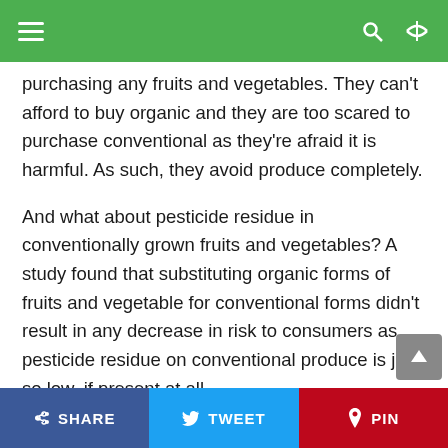≡  🔍 ☾
purchasing any fruits and vegetables. They can't afford to buy organic and they are too scared to purchase conventional as they're afraid it is harmful. As such, they avoid produce completely.

And what about pesticide residue in conventionally grown fruits and vegetables? A study found that substituting organic forms of fruits and vegetable for conventional forms didn't result in any decrease in risk to consumers as pesticide residue on conventional produce is just so low, if present at all.

Also, the USDA and FDA conducted a sampling
SHARE   TWEET   PIN